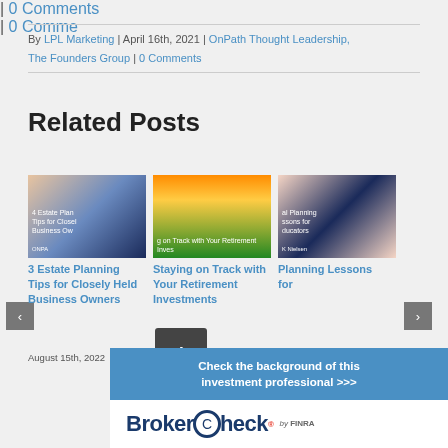By LPL Marketing | April 16th, 2021 | OnPath Thought Leadership, The Founders Group | 0 Comments
Related Posts
[Figure (photo): Photo of smiling woman in an apron with a dark blue overlay panel showing '4 Estate Planning Tips for Closely Held Business Owners' and OnPath logo]
[Figure (photo): Photo of a road at sunset with trees and orange sky, overlay text 'Staying on Track with Your Retirement Investments']
[Figure (photo): Photo of a woman teacher/educator with a dark blue overlay panel showing 'Financial Planning Lessons for Educators' and K Nielsen branding]
3 Estate Planning Tips for Closely Held Business Owners
Staying on Track with Your Retirement Investments
Planning Lessons for
August 15th, 2022
August 10th,
| 0 Comments
| 0 Comments
Check the background of this investment professional >>>
BrokerCheck® by FINRA